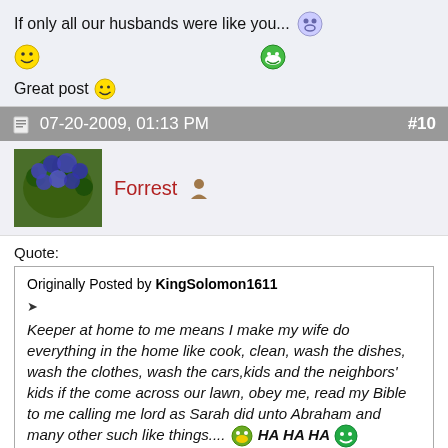If only all our husbands were like you...
Great post
07-20-2009, 01:13 PM  #10
Forrest
Quote: Originally Posted by KingSolomon1611 — Keeper at home to me means I make my wife do everything in the home like cook, clean, wash the dishes, wash the clothes, wash the cars,kids and the neighbors' kids if the come across our lawn, obey me, read my Bible to me calling me lord as Sarah did unto Abraham and many other such like things.... HA HA HA